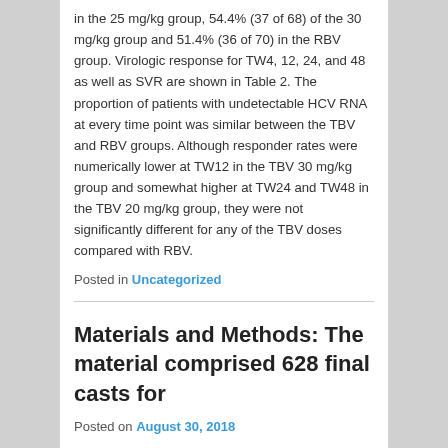in the 25 mg/kg group, 54.4% (37 of 68) of the 30 mg/kg group and 51.4% (36 of 70) in the RBV group. Virologic response for TW4, 12, 24, and 48 as well as SVR are shown in Table 2. The proportion of patients with undetectable HCV RNA at every time point was similar between the TBV and RBV groups. Although responder rates were numerically lower at TW12 in the TBV 30 mg/kg group and somewhat higher at TW24 and TW48 in the TBV 20 mg/kg group, they were not significantly different for any of the TBV doses compared with RBV.
Posted in Uncategorized
Materials and Methods: The material comprised 628 final casts for
Posted on August 30, 2018